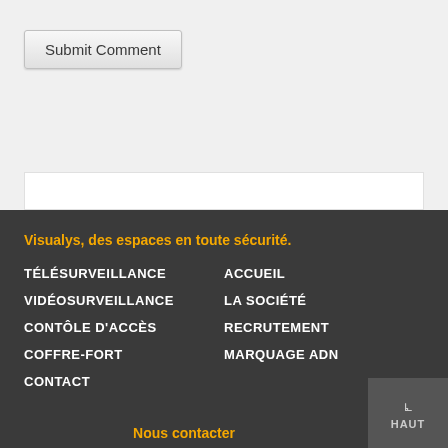[Figure (screenshot): Submit Comment button on a light gray background with a white bar below]
Visualys, des espaces en toute sécurité.
TÉLÉSURVEILLANCE
VIDÉOSURVEILLANCE
CONTÔLE D'ACCÈS
COFFRE-FORT
CONTACT
ACCUEIL
LA SOCIÉTÉ
RECRUTEMENT
MARQUAGE ADN
HAUT
Nous contacter